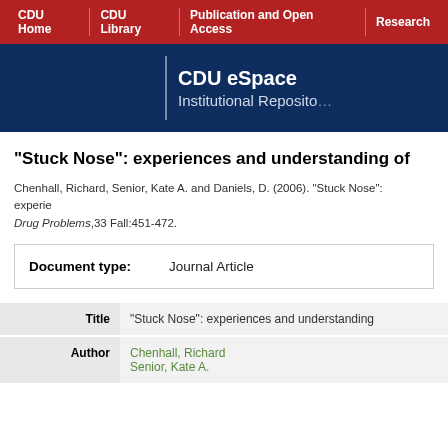CDU Home | CDU Library | Publication and Open Access | Research
CDU eSpace Institutional Repository
"Stuck Nose": experiences and understanding of
Chenhall, Richard, Senior, Kate A. and Daniels, D. (2006). "Stuck Nose": experiences and understanding... Drug Problems,33 Fall:451-472.
| Document type: | Journal Article |
| --- | --- |
| Title | Author |
| --- | --- |
| "Stuck Nose": experiences and understanding | Chenhall, Richard
Senior, Kate A. |